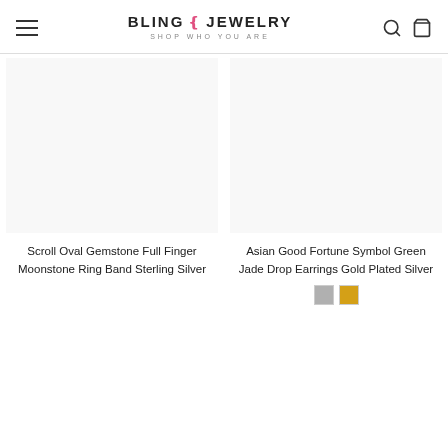BLING JEWELRY — SHOP WHO YOU ARE
Scroll Oval Gemstone Full Finger Moonstone Ring Band Sterling Silver
Asian Good Fortune Symbol Green Jade Drop Earrings Gold Plated Silver